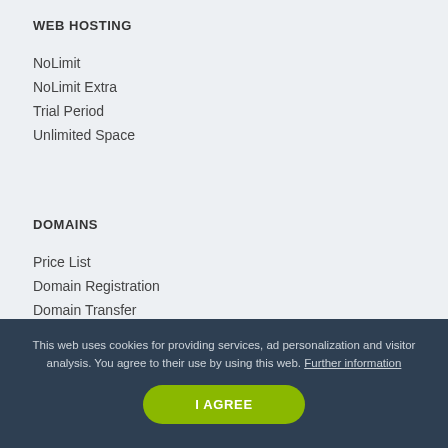WEB HOSTING
NoLimit
NoLimit Extra
Trial Period
Unlimited Space
DOMAINS
Price List
Domain Registration
Domain Transfer
Bulk Registration
DNS Management
Glossary of Terms
This web uses cookies for providing services, ad personalization and visitor analysis. You agree to their use by using this web. Further information
I AGREE